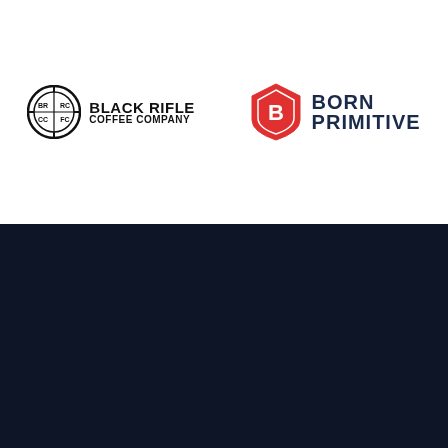[Figure (logo): Black Rifle Coffee Company logo — circular crosshair emblem with BR/CC letters inside, next to bold text BLACK RIFLE COFFEE COMPANY]
[Figure (logo): Born Primitive logo — red hexagonal shield emblem with stylized BP letterform inside, next to bold dark navy text BORN PRIMITIVE]
ABOUT US
Best Defense Foundation, a 501(c)(3) not for profit organization, has not provided any goods